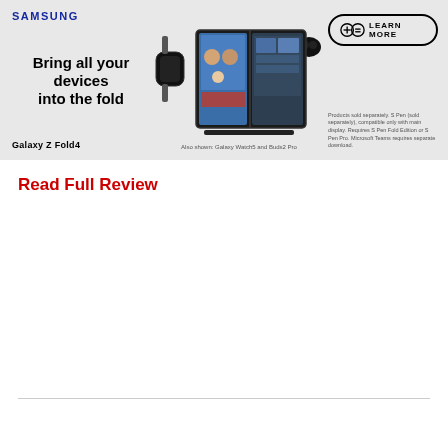[Figure (infographic): Samsung advertisement banner for Galaxy Z Fold4. Shows Samsung logo, tagline 'Bring all your devices into the fold', Galaxy Z Fold4 product name, images of devices (smartwatch, foldable phone, Buds Pro), a 'Learn More' button with game controller icons, and small disclaimer text.]
Read Full Review